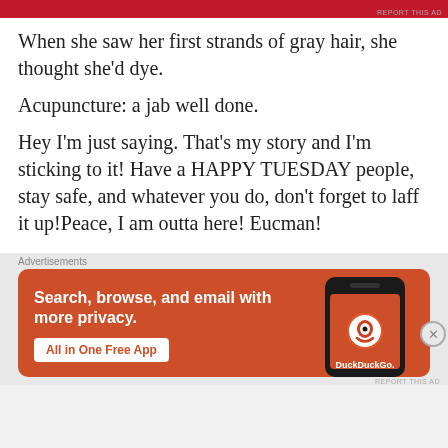[Figure (other): Red advertisement banner at top of page]
When she saw her first strands of gray hair, she thought she'd dye.
Acupuncture: a jab well done.
Hey I'm just saying. That's my story and I'm sticking to it! Have a HAPPY TUESDAY people, stay safe, and whatever you do, don't forget to laff it up!Peace, I am outta here!  Eucman!
[Figure (other): DuckDuckGo advertisement banner: Search, browse, and email with more privacy. All in One Free App.]